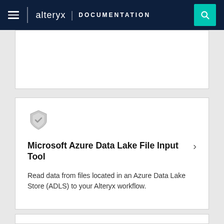alteryx | DOCUMENTATION
[Figure (screenshot): Alteryx tool icon - shield/badge shape in gray]
Microsoft Azure Data Lake File Input Tool
Read data from files located in an Azure Data Lake Store (ADLS) to your Alteryx workflow.